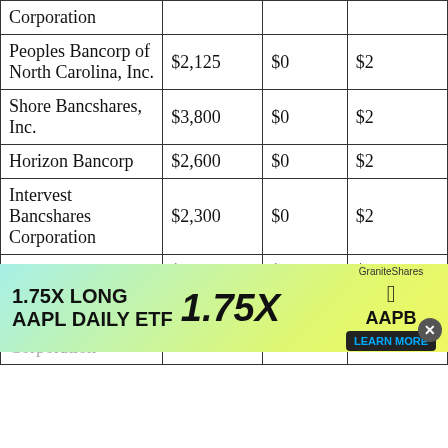| Institution | Amount | Col3 | Col4 |
| --- | --- | --- | --- |
| Corporation |  |  |  |
| Peoples Bancorp of North Carolina, Inc. | $2,125 | $0 | $2 |
| Shore Bancshares, Inc. | $3,800 | $0 | $2 |
| Horizon Bancorp | $2,600 | $0 | $2 |
| Intervest Bancshares Corporation | $2,300 | $0 | $2 |
| HF Financial Corp. | $250 | $0 | $2 |
| Heritage Financial Corporation |  |  | $2 |
[Figure (other): Advertisement overlay: 1.75X LONG AAPL DAILY ETF (ticker: AAPB) by GraniteShares with Learn More button]